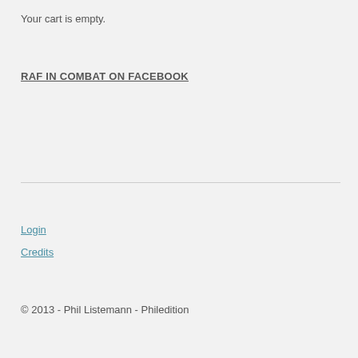Your cart is empty.
RAF IN COMBAT ON FACEBOOK
Login
Credits
© 2013 - Phil Listemann - Philedition